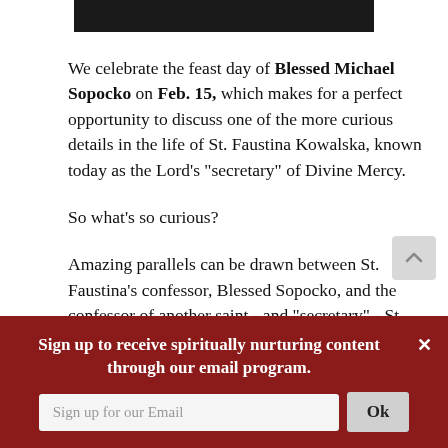[Figure (photo): Black image bar at top of page]
We celebrate the feast day of Blessed Michael Sopocko on Feb. 15, which makes for a perfect opportunity to discuss one of the more curious details in the life of St. Faustina Kowalska, known today as the Lord's "secretary" of Divine Mercy.
So what's so curious?
Amazing parallels can be drawn between St. Faustina's confessor, Blessed Sopocko, and the confessor of another saint - and "secretary" - St. Margaret Mary Alacoque, who received the revelations of the Sacred Heart in the 1670s.
Sign up to receive spiritually nurturing content through our email program.